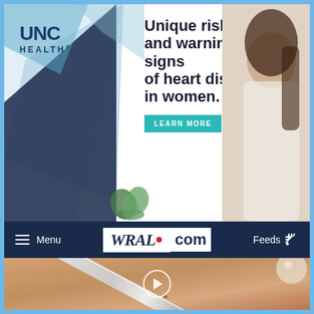[Figure (infographic): UNC Health advertisement banner featuring blue geometric shapes, UNC Health logo, text about unique risks and warning signs of heart disease in women, a Learn More button, and a photo of a smiling woman on the right side]
[Figure (screenshot): WRAL.com navigation bar with hamburger menu icon, Menu text, WRAL.com logo in white on dark navy background, and Feeds icon on the right]
[Figure (photo): Close-up video thumbnail showing a medical instrument (probe or pen) on skin, with a white circular play button overlay in the center]